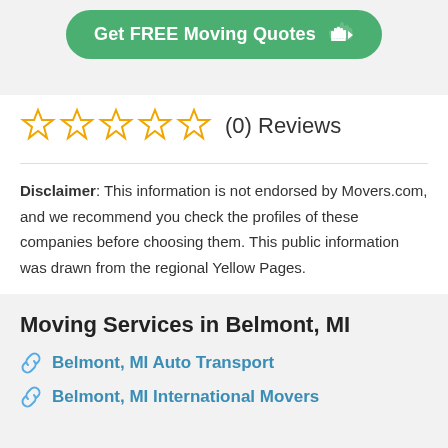[Figure (other): Green rounded button with text 'Get FREE Moving Quotes' and a pointing hand icon]
(0) Reviews
Disclaimer: This information is not endorsed by Movers.com, and we recommend you check the profiles of these companies before choosing them. This public information was drawn from the regional Yellow Pages.
Moving Services in Belmont, MI
Belmont, MI Auto Transport
Belmont, MI International Movers